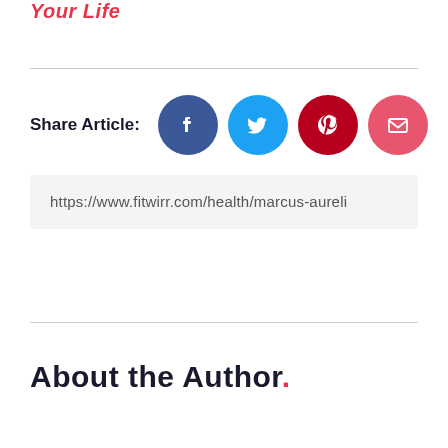Your Life
[Figure (infographic): Share Article section with social media icon buttons: Facebook (blue circle), Twitter (light blue circle), Pinterest (dark red circle), Email (pink circle), followed by a URL input box showing https://www.fitwirr.com/health/marcus-aureli]
About the Author.